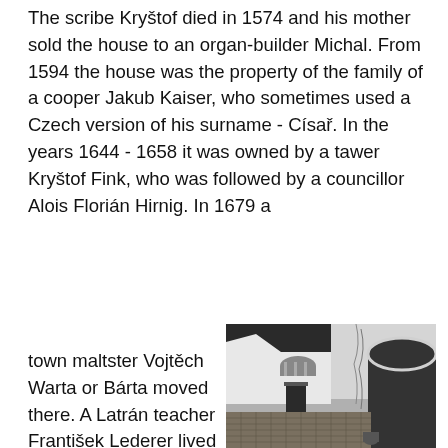The scribe Kryštof died in 1574 and his mother sold the house to an organ-builder Michal. From 1594 the house was the property of the family of a cooper Jakub Kaiser, who sometimes used a Czech version of his surname - Císař. In the years 1644 - 1658 it was owned by a tawer Kryštof Fink, who was followed by a councillor Alois Florián Hirnig. In 1679 a
town maltster Vojtěch Warta or Bárta moved there. A Latrán teacher František Lederer lived in the house from 1688. In the years 1711 - 1768 wheelwrights Antonín and Jan Schwabl settled in the house. From 1774 a
[Figure (photo): Black and white photo of a historic building courtyard with white plastered walls, an arched entrance, a window above, cobblestone ground, and climbing vines on the wall.]